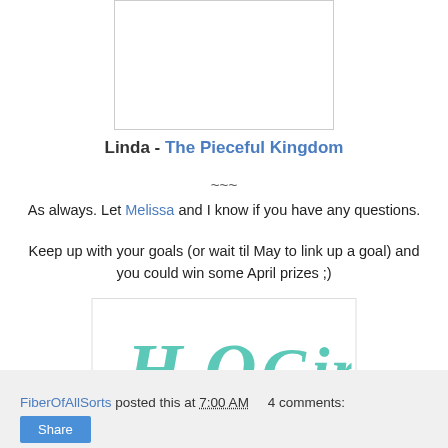[Figure (other): Placeholder image box at top center]
Linda - The Pieceful Kingdom
~~~
As always.  Let Melissa and I know if you have any questions.
Keep up with your goals (or wait til May to link up a goal) and you could win some April prizes ;)
[Figure (logo): H2O Girl logo with teal script lettering and pink knitting needles]
FiberOfAllSorts posted this at 7:00 AM   4 comments:   Share